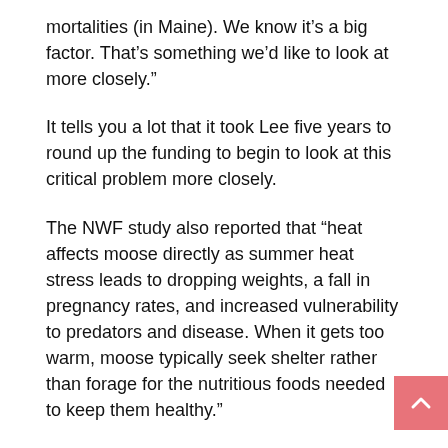mortalities (in Maine). We know it’s a big factor. That’s something we’d like to look at more closely.”
It tells you a lot that it took Lee five years to round up the funding to begin to look at this critical problem more closely.
The NWF study also reported that “heat affects moose directly as summer heat stress leads to dropping weights, a fall in pregnancy rates, and increased vulnerability to predators and disease. When it gets too warm, moose typically seek shelter rather than forage for the nutritious foods needed to keep them healthy.”
Maine sharply increased moose permits again this year, to 4,100, the most in the 32 year history of the state’s modern moose hunt.